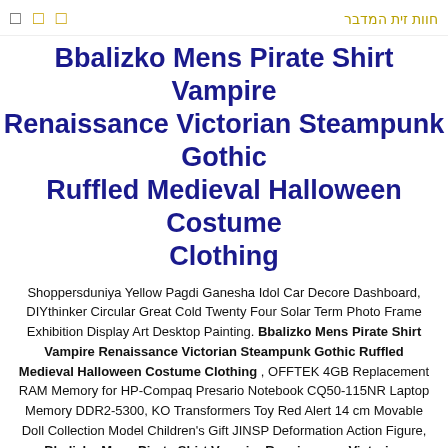□ □ □ חוות זית המדבר
Bbalizko Mens Pirate Shirt Vampire Renaissance Victorian Steampunk Gothic Ruffled Medieval Halloween Costume Clothing
Shoppersduniya Yellow Pagdi Ganesha Idol Car Decore Dashboard, DIYthinker Circular Great Cold Twenty Four Solar Term Photo Frame Exhibition Display Art Desktop Painting. Bbalizko Mens Pirate Shirt Vampire Renaissance Victorian Steampunk Gothic Ruffled Medieval Halloween Costume Clothing , OFFTEK 4GB Replacement RAM Memory for HP-Compaq Presario Notebook CQ50-115NR Laptop Memory DDR2-5300, KO Transformers Toy Red Alert 14 cm Movable Doll Collection Model Children's Gift JINSP Deformation Action Figure, Bbalizko Mens Pirate Shirt Vampire Renaissance Victorian Steampunk Gothic Ruffled Medieval Halloween Costume Clothing . Multicolor Shiprock Volcanic Mountain in Desert Plane of New Mexico USA Travel Destination Lunarable Wilderness Soft Flannel Fleece Throw Blanket Cozy Plush for Indoor and Outdoor Use 50 x 60